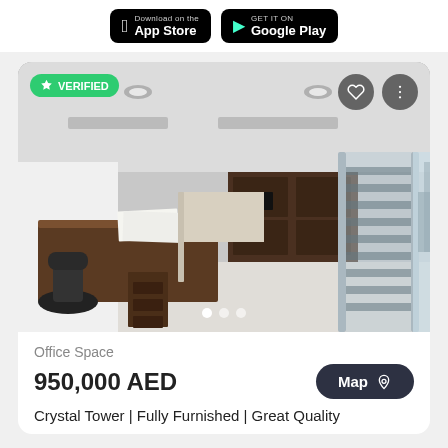[Figure (screenshot): App Store and Google Play download buttons on white bar at top]
[Figure (photo): Interior photo of a modern furnished office space in Crystal Tower, with dark wood desks, glass partition walls with striped frosted film, office chairs, workstations, and city view through windows. Green VERIFIED badge top left, heart and menu icons top right, three dot pagination indicators at bottom center.]
Office Space
950,000 AED
Map
Crystal Tower | Fully Furnished | Great Quality